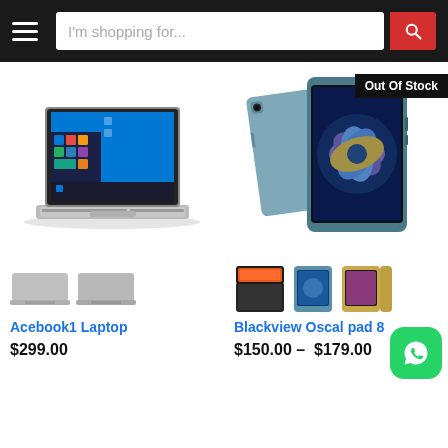I'm shopping for...
[Figure (photo): Acebook1 Laptop product image with Windows 10 interface visible on screen, silver/grey color]
[Figure (photo): Blackview Oscal Pad 8 tablets product image showing two angles — back (grey-blue) and front (vibrant floral display) — with Out Of Stock badge]
[Figure (photo): Laptop thumbnail color variants (two silver/grey closed laptops)]
[Figure (photo): Blackview Oscal Pad 8 thumbnail color variants — dark with keyboard, blue, and gold]
Acebook1 Laptop
$299.00
Blackview Oscal pad 8
$150.00 – $179.00